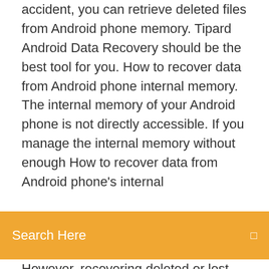accident, you can retrieve deleted files from Android phone memory. Tipard Android Data Recovery should be the best tool for you. How to recover data from Android phone internal memory. The internal memory of your Android phone is not directly accessible. If you manage the internal memory without enough How to recover data from Android phone's internal
[Figure (screenshot): Orange/amber search bar overlay with 'Search Here' label in white text on left and a small square icon on the right]
However, recovering deleted or lost data from Android phone's Internal Storage Memory is possible using Remo Recover for Android software. Oppo Data Recovery: Recover Lost or Deleted Data ...
Nov 11, 2014 Are your trying to find a reliable phone memory recovery software? Here you can download powerful data recovery software for android phone  Step 2 Run Android Recovery Program and Connect Phone to PC. Now, you need to